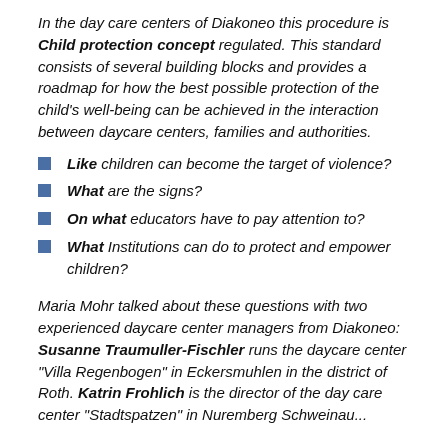In the day care centers of Diakoneo this procedure is Child protection concept regulated. This standard consists of several building blocks and provides a roadmap for how the best possible protection of the child's well-being can be achieved in the interaction between daycare centers, families and authorities.
Like children can become the target of violence?
What are the signs?
On what educators have to pay attention to?
What Institutions can do to protect and empower children?
Maria Mohr talked about these questions with two experienced daycare center managers from Diakoneo: Susanne Traumuller-Fischler runs the daycare center "Villa Regenbogen" in Eckersmuhlen in the district of Roth. Katrin Frohlich is the director of the day care center "Stadtspatzen" in Nuremberg Schweinau...